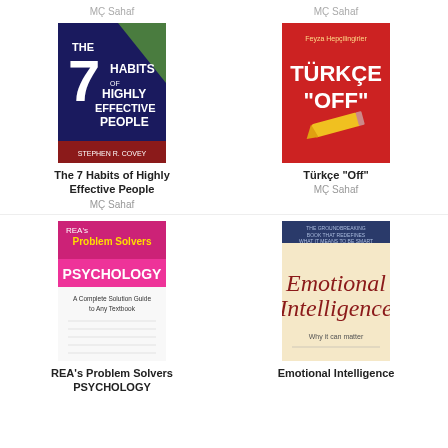MÇ Sahaf
MÇ Sahaf
[Figure (photo): Book cover: The 7 Habits of Highly Effective People - dark navy blue cover with large white text]
The 7 Habits of Highly Effective People
MÇ Sahaf
[Figure (photo): Book cover: Türkçe Off - red cover with white bold text and a yellow pencil]
Türkçe "Off"
MÇ Sahaf
[Figure (photo): Book cover: REA's Problem Solvers Psychology - pink and white cover]
REA's Problem Solvers PSYCHOLOGY
[Figure (photo): Book cover: Emotional Intelligence - cream colored cover with large italic text]
Emotional Intelligence